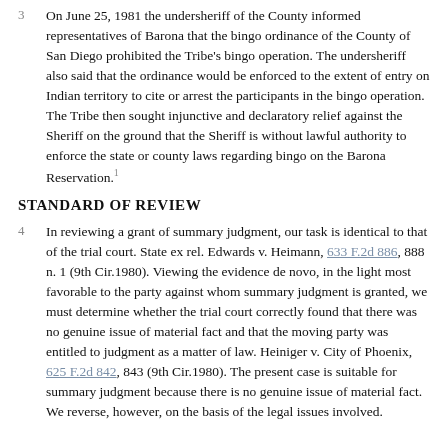On June 25, 1981 the undersheriff of the County informed representatives of Barona that the bingo ordinance of the County of San Diego prohibited the Tribe's bingo operation. The undersheriff also said that the ordinance would be enforced to the extent of entry on Indian territory to cite or arrest the participants in the bingo operation. The Tribe then sought injunctive and declaratory relief against the Sheriff on the ground that the Sheriff is without lawful authority to enforce the state or county laws regarding bingo on the Barona Reservation.[1]
STANDARD OF REVIEW
In reviewing a grant of summary judgment, our task is identical to that of the trial court. State ex rel. Edwards v. Heimann, 633 F.2d 886, 888 n. 1 (9th Cir.1980). Viewing the evidence de novo, in the light most favorable to the party against whom summary judgment is granted, we must determine whether the trial court correctly found that there was no genuine issue of material fact and that the moving party was entitled to judgment as a matter of law. Heiniger v. City of Phoenix, 625 F.2d 842, 843 (9th Cir.1980). The present case is suitable for summary judgment because there is no genuine issue of material fact. We reverse, however, on the basis of the legal issues involved.